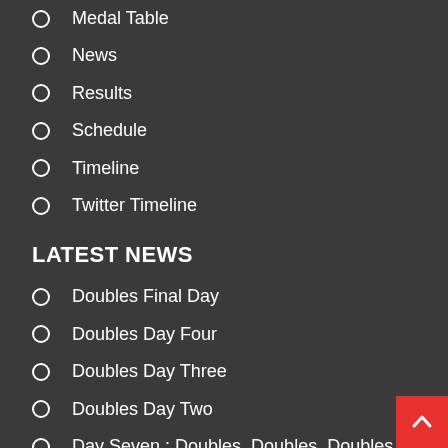Medal Table
News
Results
Schedule
Timeline
Twitter Timeline
LATEST NEWS
Doubles Final Day
Doubles Day Four
Doubles Day Three
Doubles Day Two
Day Seven : Doubles, Doubles, Doubles
Day Six : Medals Day